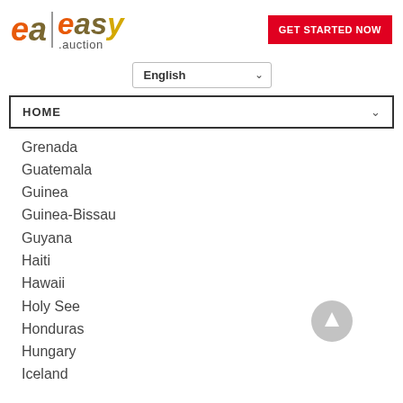[Figure (logo): ea|easy.auction logo with orange and olive colored letters]
[Figure (other): Red GET STARTED NOW button]
English (dropdown selector)
HOME (navigation dropdown)
Grenada
Guatemala
Guinea
Guinea-Bissau
Guyana
Haiti
Hawaii
Holy See
Honduras
Hungary
Iceland